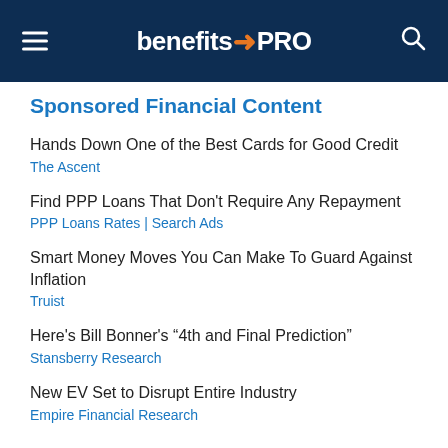benefitsPRO
Sponsored Financial Content
Hands Down One of the Best Cards for Good Credit
The Ascent
Find PPP Loans That Don't Require Any Repayment
PPP Loans Rates | Search Ads
Smart Money Moves You Can Make To Guard Against Inflation
Truist
Here's Bill Bonner's “4th and Final Prediction”
Stansberry Research
New EV Set to Disrupt Entire Industry
Empire Financial Research